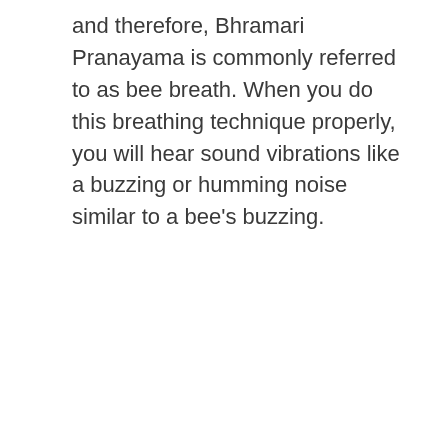and therefore, Bhramari Pranayama is commonly referred to as bee breath. When you do this breathing technique properly, you will hear sound vibrations like a buzzing or humming noise similar to a bee's buzzing.